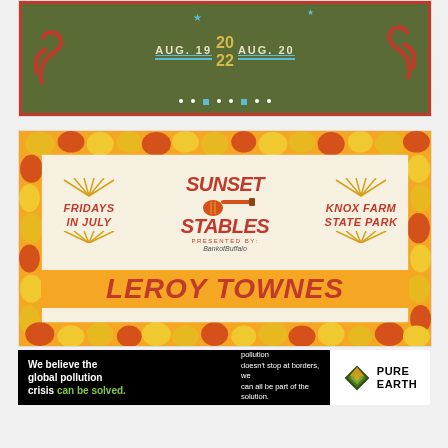[Figure (illustration): Festival poster with dark olive green background, decorative red swirl ornaments, text 'AUG. 19 2022 AUG. 20' in cream/yellow/blue decorative lettering with stars and dots]
[Figure (illustration): Sunset at the Stables concert poster with orange mosaic border, cream background, text 'FRIDAYS IN JULY', 'SUNSET AT THE STABLES', 'KNOX FARM STATE PARK', guitar illustration, 'PRESENTED BY: Bank of Buffalo', and large 'LEROY TOWNES' text on orange background]
[Figure (illustration): Pure Earth advertisement banner: black background with text 'We believe the global pollution crisis can be solved.' and 'In a world where pollution doesn't stop at borders, we can all be part of the solution. JOIN US.' White right section with Pure Earth diamond logo and PURE EARTH text]